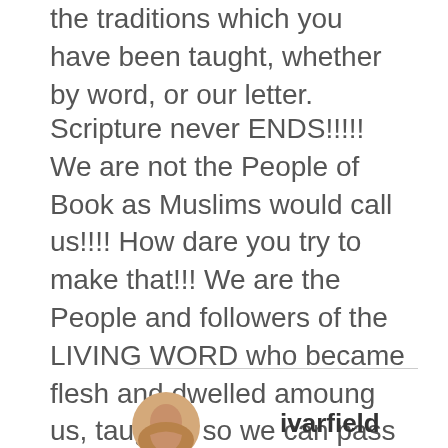the traditions which you have been taught, whether by word, or our letter.
Scripture never ENDS!!!!! We are not the People of Book as Muslims would call us!!!! How dare you try to make that!!! We are the People and followers of the LIVING WORD who became flesh and dwelled amoung us, taughts, so we can pass it on to Others as TRADITION!!!!!!!!!!!!
[Figure (photo): Circular avatar image showing hands, partially visible at bottom of page]
ivarfield